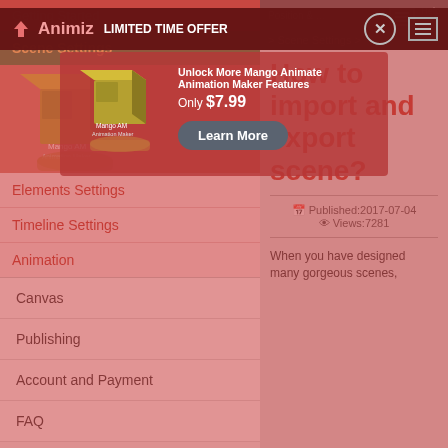Animiz LIMITED TIME OFFER
> Scene Settings >
Getting Started
Scene Settings
Elements Settings
Timeline Settings
Animation
Canvas
Publishing
Account and Payment
FAQ
How to import and export scene?
Published: 2017-07-04
Views: 7281
When you have designed many gorgeous scenes,
[Figure (screenshot): Popup overlay advertising Mango Animate Animation Maker with product box image, text 'Unlock More Mango Animate Animation Maker Features', price 'Only $7.99', and a 'Learn More' button]